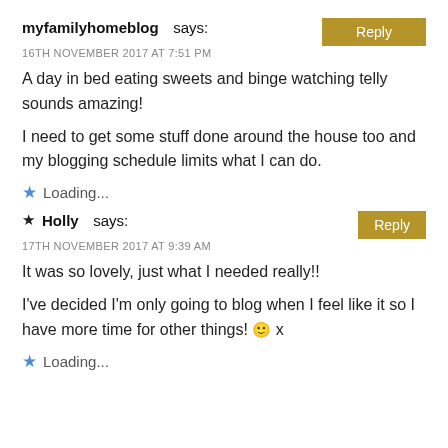myfamilyhomeblog says:
16TH NOVEMBER 2017 AT 7:51 PM
A day in bed eating sweets and binge watching telly sounds amazing!
I need to get some stuff done around the house too and my blogging schedule limits what I can do.
Loading...
Holly says:
17TH NOVEMBER 2017 AT 9:39 AM
It was so lovely, just what I needed really!!
I've decided I'm only going to blog when I feel like it so I have more time for other things! 🙂 x
Loading...